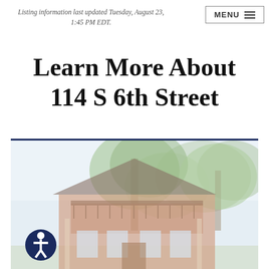Listing information last updated Tuesday, August 23, 1:45 PM EDT.
Learn More About 114 S 6th Street
[Figure (photo): Exterior photo of a historic multi-story brick home with large trees in front, craftsman/prairie style architecture with covered porch balcony]